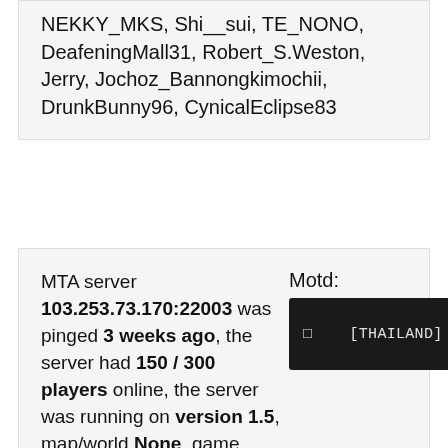NEKKY_MKS, Shi__sui, TE_NONO, DeafeningMall31, Robert_S.Weston, Jerry, Jochoz_Bannongkimochii, DrunkBunny96, CynicalEclipse83
MTA server 103.253.73.170:22003 was pinged 3 weeks ago, the server had 150 / 300 players online, the server was running on version 1.5, map/world None, game type/game mode !! ทดสอบทดสอบทดสอบทดสอบทดสอบ !!,
Motd:
[Figure (screenshot): Dark terminal/console screenshot showing text: □  [THAILAND] DYS-2 Ci (truncated)]